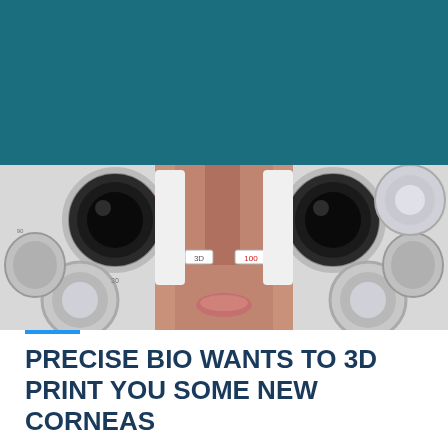[Figure (photo): Top portion: solid teal/dark cyan background. Bottom portion: close-up photo of a person undergoing an eye examination with a phoropter (refraction equipment), showing the person's nose and mouth visible between the white and metallic lenses and dials of the device.]
PRECISE BIO WANTS TO 3D PRINT YOU SOME NEW CORNEAS